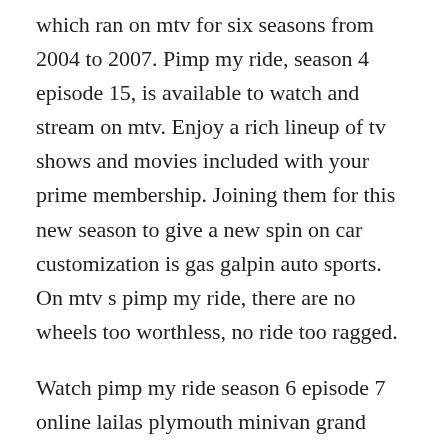which ran on mtv for six seasons from 2004 to 2007. Pimp my ride, season 4 episode 15, is available to watch and stream on mtv. Enjoy a rich lineup of tv shows and movies included with your prime membership. Joining them for this new season to give a new spin on car customization is gas galpin auto sports. On mtv s pimp my ride, there are no wheels too worthless, no ride too ragged.
Watch pimp my ride season 6 episode 7 online lailas plymouth minivan grand voyager expresso. Good thing the guys at gas throw